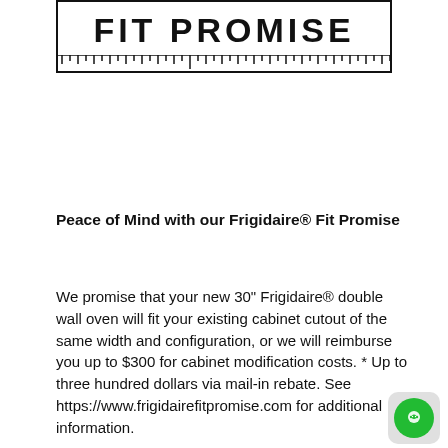[Figure (logo): Frigidaire Fit Promise logo: text 'FIT PROMISE' in bold uppercase inside a rectangular border with a ruler/tick-mark bottom edge]
Peace of Mind with our Frigidaire® Fit Promise
We promise that your new 30" Frigidaire® double wall oven will fit your existing cabinet cutout of the same width and configuration, or we will reimburse you up to $300 for cabinet modification costs. * Up to three hundred dollars via mail-in rebate. See https://www.frigidairefitpromise.com for additional information.